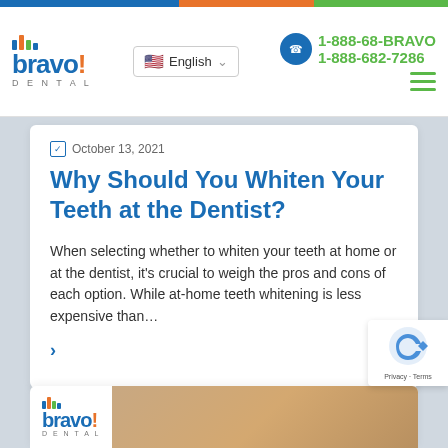[Figure (logo): Bravo Dental logo with colored bar chart icon and blue bravo! text with orange exclamation, and DENTAL subtitle]
English
1-888-68-BRAVO 1-888-682-7286
October 13, 2021
Why Should You Whiten Your Teeth at the Dentist?
When selecting whether to whiten your teeth at home or at the dentist, it's crucial to weigh the pros and cons of each option. While at-home teeth whitening is less expensive than…
[Figure (screenshot): Bottom card peek showing Bravo Dental logo and partial face photo]